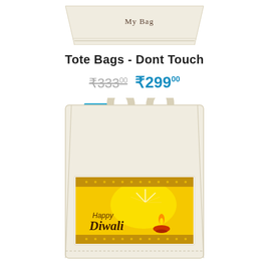[Figure (photo): Top portion of a plain cream/beige tote bag with 'My Bag' text printed on it]
Tote Bags - Dont Touch
₹333.00  ₹299.00
-10%
[Figure (photo): Cream/beige tote bag with a Happy Diwali printed graphic showing a diya lamp on a yellow background with decorative borders]